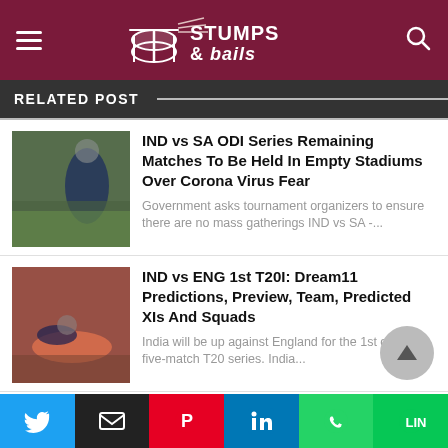Stumps & Bails
RELATED POST
[Figure (photo): Cricket player in blue jacket on field]
IND vs SA ODI Series Remaining Matches To Be Held In Empty Stadiums Over Corona Virus Fear
Government asks tournament organizers to ensure there are no mass gatherings IND vs SA -...
[Figure (photo): Cricket player diving/fielding on ground]
IND vs ENG 1st T20I: Dream11 Predictions, Preview, Team, Predicted XIs And Squads
India will be up against England for the 1st of the five-match T20 series. India...
[Figure (photo): Cricket player in red jersey looking up]
R Ashwin changes Twitter Name To Raise Awareness About Covid-19
Ravichandran Ashwin Advised To Stay Indoors: There's